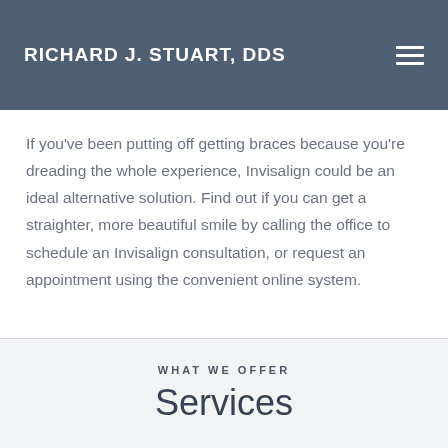RICHARD J. STUART, DDS
If you've been putting off getting braces because you're dreading the whole experience, Invisalign could be an ideal alternative solution. Find out if you can get a straighter, more beautiful smile by calling the office to schedule an Invisalign consultation, or request an appointment using the convenient online system.
WHAT WE OFFER
Services